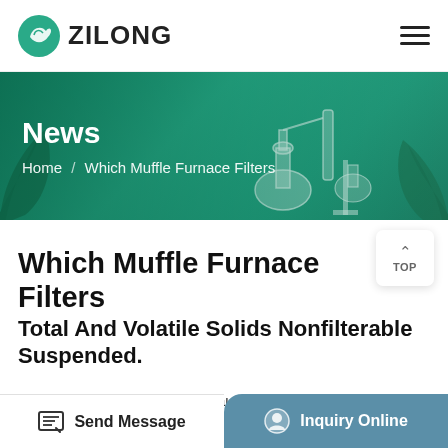ZILONG
[Figure (screenshot): Green banner with laboratory equipment illustration showing distillation glassware on a teal/green background with plant decorations on the sides]
News
Home / Which Muffle Furnace Filters
Which Muffle Furnace Filters
Total And Volatile Solids Nonfilterable Suspended.
1022 176F muffle furnace because it can breakPut the watch glass in a 100 176C 212 176F preheated